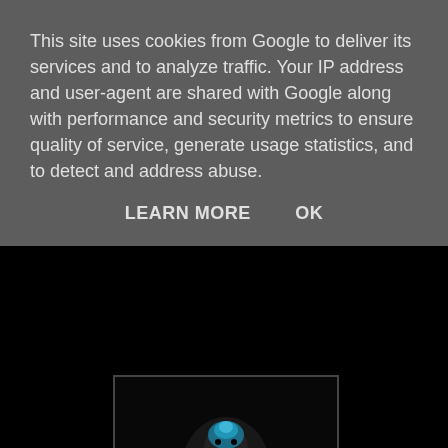This site uses cookies from Google to deliver its services and to analyze traffic. Your IP address and user-agent are shared with Google along with performance and security metrics to ensure quality of service, generate usage statistics, and to detect and address abuse.
LEARN MORE    OK
[Figure (illustration): Dark album art showing a bird (eagle or similar) with blue light on its head against a dark background with feathers spread]
Cryptex - Once Upon A Time
You know that feeling you get when you go and see a band, but have no idea who the support act is, then get completely blown away by said support band. Well Cryptex was one such surprise back in 2012. A very nice surprise, in fact. I was reviewing and interviewing Pain Of Salvation for another site, and thankfully made it just in time to see Cryptex perform. There was nothing 'normal' about these three guys,